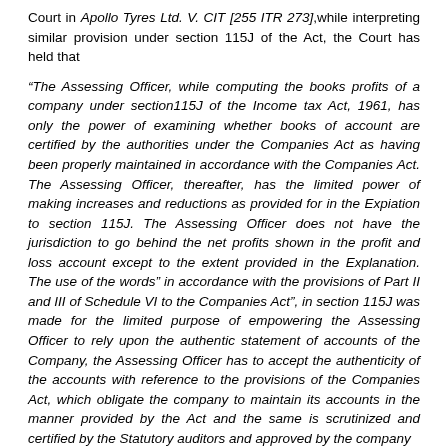Court in Apollo Tyres Ltd. V. CIT [255 ITR 273],while interpreting similar provision under section 115J of the Act, the Court has held that
“The Assessing Officer, while computing the books profits of a company under section115J of the Income tax Act, 1961, has only the power of examining whether books of account are certified by the authorities under the Companies Act as having been properly maintained in accordance with the Companies Act. The Assessing Officer, thereafter, has the limited power of making increases and reductions as provided for in the Expiation to section 115J. The Assessing Officer does not have the jurisdiction to go behind the net profits shown in the profit and loss account except to the extent provided in the Explanation. The use of the words” in accordance with the provisions of Part II and III of Schedule VI to the Companies Act”, in section 115J was made for the limited purpose of empowering the Assessing Officer to rely upon the authentic statement of accounts of the Company, the Assessing Officer has to accept the authenticity of the accounts with reference to the provisions of the Companies Act, which obligate the company to maintain its accounts in the manner provided by the Act and the same is scrutinized and certified by the Statutory auditors and approved by the company in a general meeting and thereafter filed before the Registrar